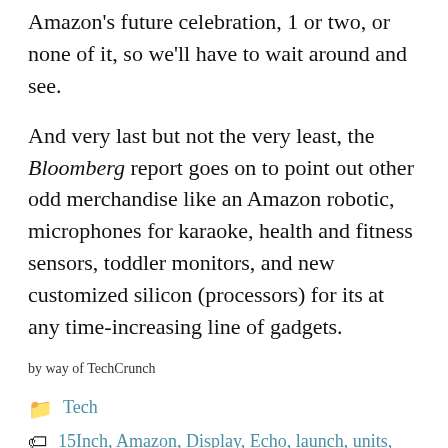Amazon's future celebration, 1 or two, or none of it, so we'll have to wait around and see.
And very last but not the very least, the Bloomberg report goes on to point out other odd merchandise like an Amazon robotic, microphones for karaoke, health and fitness sensors, toddler monitors, and new customized silicon (processors) for its at any time-increasing line of gadgets.
by way of TechCrunch
Tech
15Inch, Amazon, Display, Echo, launch, units, wall